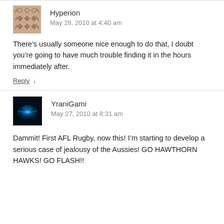[Figure (illustration): Avatar image for user Hyperion — a geometric diamond/chevron pattern in brown/tan tones]
Hyperion
May 28, 2010 at 4:40 am
There’s usually someone nice enough to do that, I doubt you’re going to have much trouble finding it in the hours immediately after.
Reply ↓
[Figure (photo): Avatar image for user YraniGami — a dark blue glowing object on black background]
YraniGami
May 27, 2010 at 8:31 am
Dammit! First AFL Rugby, now this! I’m starting to develop a serious case of jealousy of the Aussies! GO HAWTHORN HAWKS! GO FLASH!!